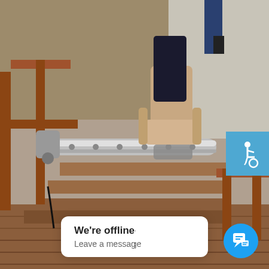[Figure (photo): Outdoor wooden staircase with a motorized stairlift rail installed along the center. A beige/tan stairlift chair seat and footrest are visible mid-staircase. Wooden handrails frame both sides. A person's legs are visible in the background on a sidewalk. Gravel and dry ground surround the structure.]
[Figure (infographic): Blue square badge in the top-right corner displaying a white wheelchair accessibility symbol (International Symbol of Access).]
We're offline
Leave a message
[Figure (infographic): Blue circular chat button in the bottom-right corner with a white speech bubble / chat icon.]